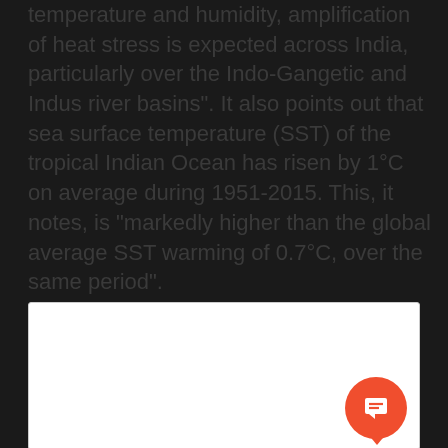temperature and humidity, amplification of heat stress is expected across India, particularly over the Indo-Gangetic and Indus river basins". It also points out that sea surface temperature (SST) of the tropical Indian Ocean has risen by 1°C on average during 1951-2015. This, it notes, is "markedly higher than the global average SST warming of 0.7°C, over the same period".
[Figure (other): White box/panel area with a red circular chat button in the bottom-right corner]